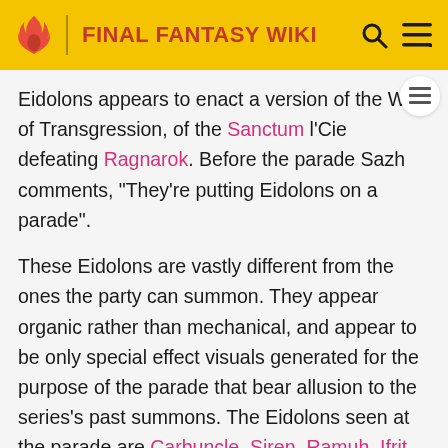FINAL FANTASY WIKI
Eidolons appears to enact a version of the War of Transgression, of the Sanctum l'Cie defeating Ragnarok. Before the parade Sazh comments, "They're putting Eidolons on a parade".
These Eidolons are vastly different from the ones the party can summon. They appear organic rather than mechanical, and appear to be only special effect visuals generated for the purpose of the parade that bear allusion to the series's past summons. The Eidolons seen at the parade are Carbuncle, Siren, Ramuh, Ifrit, and Valefor. Although Leviathan doesn't make an appearance, concept artwork for it exists, indicating Leviathan was considered as one of the Eidolons to appear in Final Fantasy XIII.